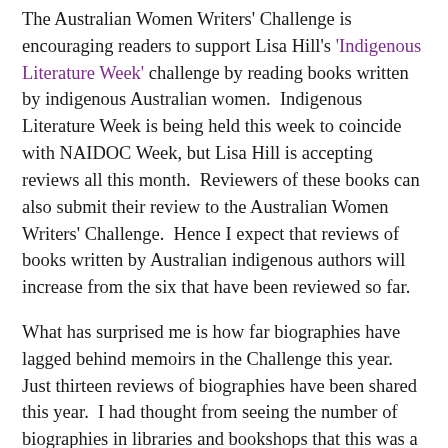The Australian Women Writers' Challenge is encouraging readers to support Lisa Hill's 'Indigenous Literature Week' challenge by reading books written by indigenous Australian women.  Indigenous Literature Week is being held this week to coincide with NAIDOC Week, but Lisa Hill is accepting reviews all this month.  Reviewers of these books can also submit their review to the Australian Women Writers' Challenge.  Hence I expect that reviews of books written by Australian indigenous authors will increase from the six that have been reviewed so far.
What has surprised me is how far biographies have lagged behind memoirs in the Challenge this year.  Just thirteen reviews of biographies have been shared this year.  I had thought from seeing the number of biographies in libraries and bookshops that this was a popular category.  Histories have not fared much better, receiving eighteen reviews in total.  Only one book, The Lone Protector by Fiona Paisley, received